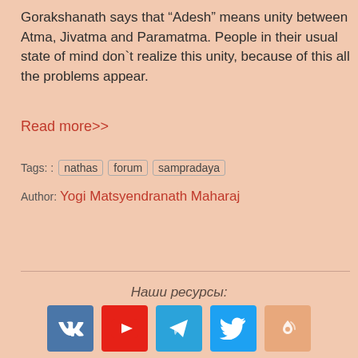Gorakshanath says that “Adesh” means unity between Atma, Jivatma and Paramatma. People in their usual state of mind don’t realize this unity, because of this all the problems appear.
Read more>>
Tags: :  nathas  forum  sampradaya
Author: Yogi Matsyendranath Maharaj
Наши ресурсы:
[Figure (infographic): Row of five social media icon buttons: VK (blue), YouTube (red), Telegram (light blue), Twitter (blue), Taplink (orange). Each is a square icon with white logo.]